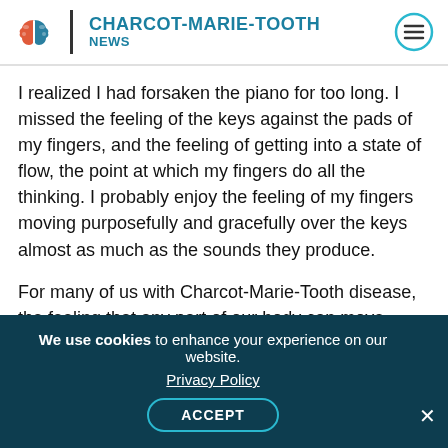CHARCOT-MARIE-TOOTH NEWS
I realized I had forsaken the piano for too long. I missed the feeling of the keys against the pads of my fingers, and the feeling of getting into a state of flow, the point at which my fingers do all the thinking. I probably enjoy the feeling of my fingers moving purposefully and gracefully over the keys almost as much as the sounds they produce.
For many of us with Charcot-Marie-Tooth disease, the feeling that any part of our body can move purposefully, and even with a little bit of grace, is not incredibly common. So, I think that when we find an activity we truly enjoy, one that allows us to
We use cookies to enhance your experience on our website. Privacy Policy ACCEPT